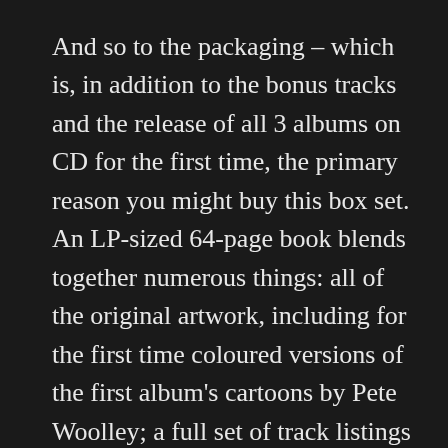And so to the packaging – which is, in addition to the bonus tracks and the release of all 3 albums on CD for the first time, the primary reason you might buy this box set. An LP-sized 64-page book blends together numerous things: all of the original artwork, including for the first time coloured versions of the first album's cartoons by Pete Woolley; a full set of track listings and musicians; a comprehensive publishing of all the lyrics; plus a biography and thoughts by Harry Williamson on the origins of the band plus a personal chronology of its development up until the end of the trilogy period. This includes the fascinating story of the original spark for the project at the